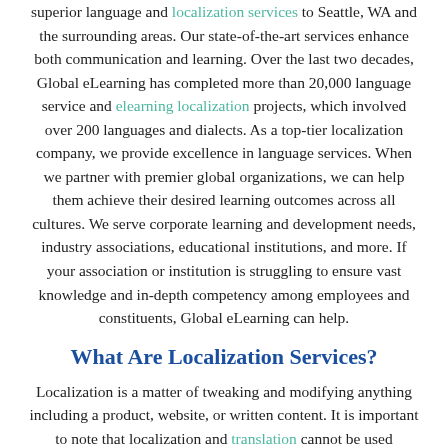superior language and localization services to Seattle, WA and the surrounding areas. Our state-of-the-art services enhance both communication and learning. Over the last two decades, Global eLearning has completed more than 20,000 language service and elearning localization projects, which involved over 200 languages and dialects. As a top-tier localization company, we provide excellence in language services. When we partner with premier global organizations, we can help them achieve their desired learning outcomes across all cultures. We serve corporate learning and development needs, industry associations, educational institutions, and more. If your association or institution is struggling to ensure vast knowledge and in-depth competency among employees and constituents, Global eLearning can help.
What Are Localization Services?
Localization is a matter of tweaking and modifying anything including a product, website, or written content. It is important to note that localization and translation cannot be used interchangeably. Translation, which is the rewriting of a text in another language, is simply one localization component. Our premier localization services also include changing website